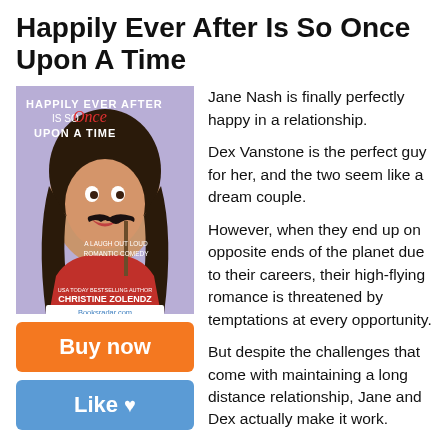Happily Ever After Is So Once Upon A Time
[Figure (photo): Book cover of 'Happily Ever After Is So Once Upon A Time' by Christine Zolendz, showing a young woman with dark curly hair making a funny face, holding a mustache prop on a stick, with a purple/lavender background. Text reads: 'A Laugh Out Loud Romantic Comedy', 'USA Today Bestselling Author Christine Zolendz', 'Booksradar.com']
Jane Nash is finally perfectly happy in a relationship.
Dex Vanstone is the perfect guy for her, and the two seem like a dream couple.
However, when they end up on opposite ends of the planet due to their careers, their high-flying romance is threatened by temptations at every opportunity.
But despite the challenges that come with maintaining a long distance relationship, Jane and Dex actually make it work.
And right when it seems like the worst is already behind them, an evil figure surfaces—ruining everything